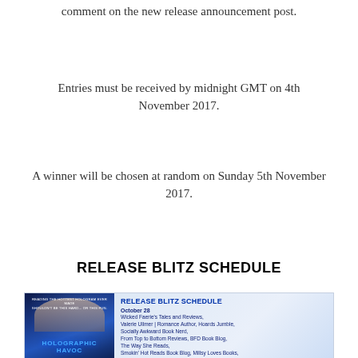comment on the new release announcement post.
Entries must be received by midnight GMT on 4th November 2017.
A winner will be chosen at random on Sunday 5th November 2017.
RELEASE BLITZ SCHEDULE
[Figure (infographic): Release Blitz Schedule graphic showing book cover of 'Holographic Havoc' on the left and a schedule listing October 28 and October 29 blog stops on the right, including Wicked Faerie's Tales and Reviews, Valerie Ullmer | Romance Author, Hoards Jumble, Socially Awkward Book Nerd, From Top to Bottom Reviews, BFD Book Blog, The Way She Reads, Smokin' Hot Reads Book Blog, Millsy Loves Books, Tangents and Tissues, The Blogger Girls, Stories That Make You Smile, MM Good Book Reviews, Nerdy Dirty and Flirty, Bayou Book Junkie, MJ's Book Blog and Reviews, Neil Iris, Zipper Rippers, Scattered Thoughts and Rogue Words.]